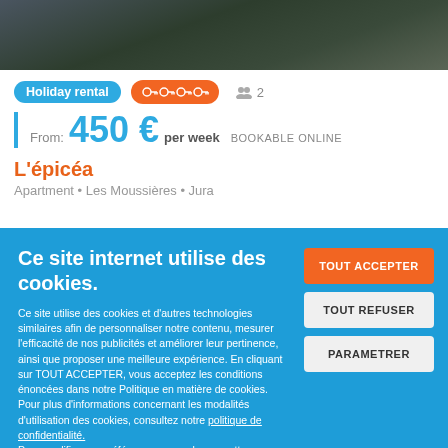[Figure (photo): Outdoor nature photo strip showing rocky terrain and foliage at the top of the page]
Holiday rental  🔑🔑🔑🔑  👥 2
From: 450 € per week  BOOKABLE ONLINE
L'épicéa
Apartment • Les Moussières • Jura
Ce site internet utilise des cookies.
Ce site utilise des cookies et d'autres technologies similaires afin de personnaliser notre contenu, mesurer l'efficacité de nos publicités et améliorer leur pertinence, ainsi que proposer une meilleure expérience. En cliquant sur TOUT ACCEPTER, vous acceptez les conditions énoncées dans notre Politique en matière de cookies.
Pour plus d'informations concernant les modalités d'utilisation des cookies, consultez notre politique de confidentialité.
Pour modifier vos préférences, vous devez mettre paramétrer vos préférences de cookies.
TOUT ACCEPTER
TOUT REFUSER
PARAMETRER